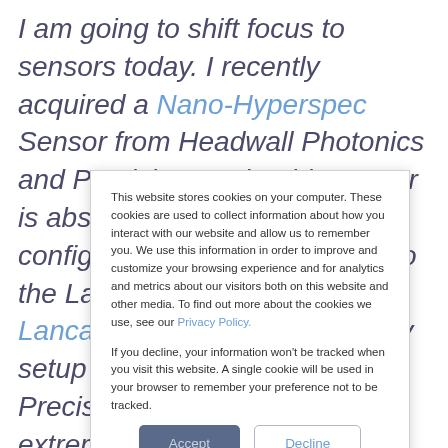I am going to shift focus to sensors today. I recently acquired a Nano-Hyperspec Sensor from Headwall Photonics and PrecisionHawk. This sensor is absolutely amazing, and is configured to just plug right onto the Lancaster Rev 4 and the Lancaster 5. This Plug and Play setup is how all of the sensors PrecisionHawk sells. Making it extremely easy to do
This website stores cookies on your computer. These cookies are used to collect information about how you interact with our website and allow us to remember you. We use this information in order to improve and customize your browsing experience and for analytics and metrics about our visitors both on this website and other media. To find out more about the cookies we use, see our Privacy Policy.

If you decline, your information won't be tracked when you visit this website. A single cookie will be used in your browser to remember your preference not to be tracked.